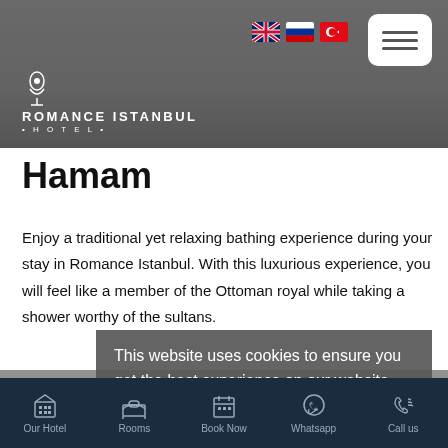[Figure (screenshot): Romance Istanbul Hotel website header with logo, language flag icons (UK, Russia, Turkey), and hamburger menu button on a gray/stone background]
Hamam
Enjoy a traditional yet relaxing bathing experience during your stay in Romance Istanbul. With this luxurious experience, you will feel like a member of the Ottoman royal while taking a shower worthy of the sultans.
Working Hours are between 08:00 and 22:00
Send Request ›
This website uses cookies to ensure you get the best experience on our website. Learn more
OKAY, THANKS
Our Hotel   Rooms   Book Now   Whatsapp   Call us